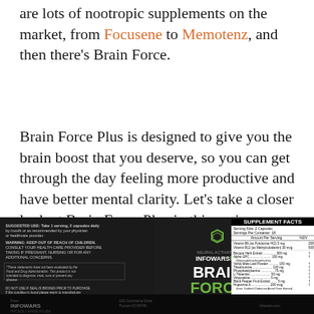are lots of nootropic supplements on the market, from Focusene to Memotenz, and then there's Brain Force.
Brain Force Plus is designed to give you the brain boost that you deserve, so you can get through the day feeling more productive and have better mental clarity. Let's take a closer look at Brain Force Plus in this review.
[Figure (photo): Brain Force Plus supplement bottle label showing product name, supplement facts panel with ingredients including Bacopa Herb Extract 300mg, Alpha GPC, Yerba Mate Leaf Powder 150mg, Theobromine 100mg, Phosphatidylserine 75mg, L-Theanine 50mg, Vinpocetine 5mg, Black Pepper Fruit Extract 5mg, Huperzine A 200mcg. Label shows 20% MORE banner and Infowars Life branding with neural activator description.]